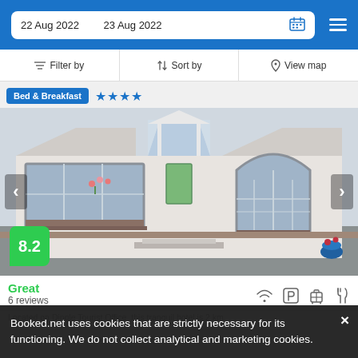22 Aug 2022  23 Aug 2022
Filter by  Sort by  View map
Bed & Breakfast ★★★★
[Figure (photo): Exterior of a white single-storey Bed & Breakfast building with large arched windows and a glass-roofed entrance porch, photographed from the parking area. A blue flower pot is visible on the right side.]
8.2
Great
6 reviews
Booked.net uses cookies that are strictly necessary for its functioning. We do not collect analytical and marketing cookies.
Located on Dingle Tourist Office, this tranquil hotel is 2 km